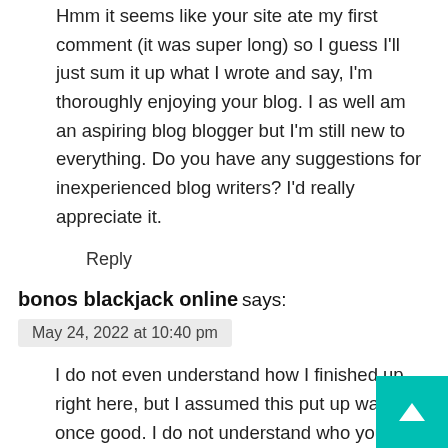Hmm it seems like your site ate my first comment (it was super long) so I guess I'll just sum it up what I wrote and say, I'm thoroughly enjoying your blog. I as well am an aspiring blog blogger but I'm still new to everything. Do you have any suggestions for inexperienced blog writers? I'd really appreciate it.
Reply
bonos blackjack online says:
May 24, 2022 at 10:40 pm
I do not even understand how I finished up right here, but I assumed this put up was once good. I do not understand who you're however definitely you are going to a famous blogger in the event you are not already 😉 Cheers!